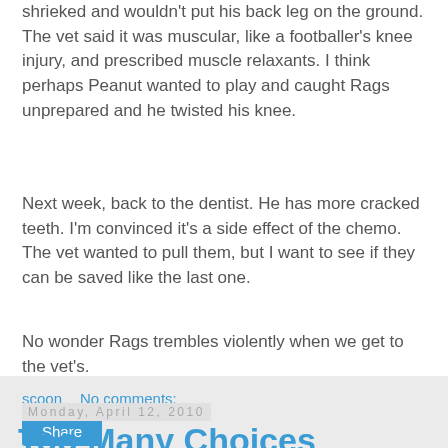shrieked and wouldn't put his back leg on the ground. The vet said it was muscular, like a footballer's knee injury, and prescribed muscle relaxants. I think perhaps Peanut wanted to play and caught Rags unprepared and he twisted his knee.
Next week, back to the dentist. He has more cracked teeth. I'm convinced it's a side effect of the chemo. The vet wanted to pull them, but I want to see if they can be saved like the last one.
No wonder Rags trembles violently when we get to the vet's.
scoon   No comments:
Share
Monday, April 12, 2010
Too Many Choices
The